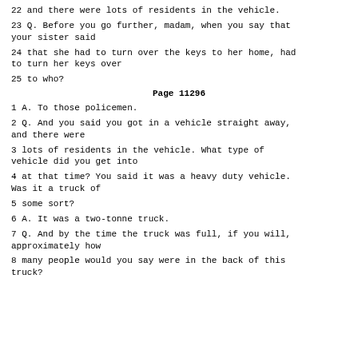22 and there were lots of residents in the vehicle.
23 Q. Before you go further, madam, when you say that your sister said
24 that she had to turn over the keys to her home, had to turn her keys over
25 to who?
Page 11296
1 A. To those policemen.
2 Q. And you said you got in a vehicle straight away, and there were
3 lots of residents in the vehicle. What type of vehicle did you get into
4 at that time? You said it was a heavy duty vehicle. Was it a truck of
5 some sort?
6 A. It was a two-tonne truck.
7 Q. And by the time the truck was full, if you will, approximately how
8 many people would you say were in the back of this truck?